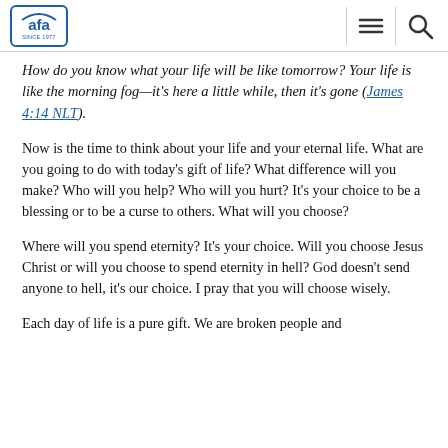AFA logo, hamburger menu, search icon
How do you know what your life will be like tomorrow? Your life is like the morning fog—it's here a little while, then it's gone (James 4:14 NLT).
Now is the time to think about your life and your eternal life. What are you going to do with today's gift of life? What difference will you make? Who will you help? Who will you hurt? It's your choice to be a blessing or to be a curse to others. What will you choose?
Where will you spend eternity? It's your choice. Will you choose Jesus Christ or will you choose to spend eternity in hell? God doesn't send anyone to hell, it's our choice. I pray that you will choose wisely.
Each day of life is a pure gift. We are broken people and